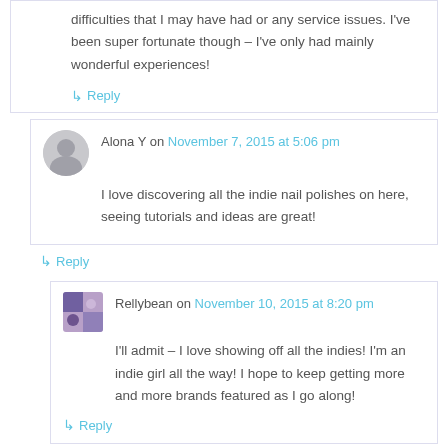difficulties that I may have had or any service issues. I've been super fortunate though – I've only had mainly wonderful experiences!
↳ Reply
Alona Y on November 7, 2015 at 5:06 pm
I love discovering all the indie nail polishes on here, seeing tutorials and ideas are great!
↳ Reply
Rellybean on November 10, 2015 at 8:20 pm
I'll admit – I love showing off all the indies! I'm an indie girl all the way! I hope to keep getting more and more brands featured as I go along!
↳ Reply